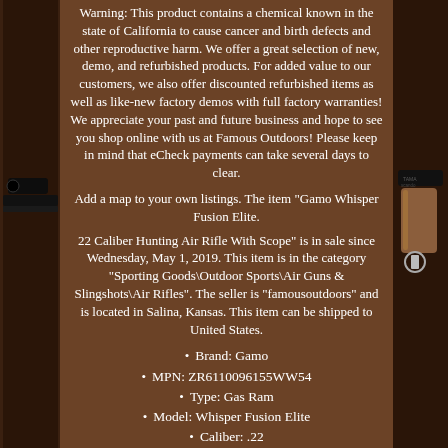Warning: This product contains a chemical known in the state of California to cause cancer and birth defects and other reproductive harm. We offer a great selection of new, demo, and refurbished products. For added value to our customers, we also offer discounted refurbished items as well as like-new factory demos with full factory warranties! We appreciate your past and future business and hope to see you shop online with us at Famous Outdoors! Please keep in mind that eCheck payments can take several days to clear.
Add a map to your own listings. The item "Gamo Whisper Fusion Elite.
22 Caliber Hunting Air Rifle With Scope" is in sale since Wednesday, May 1, 2019. This item is in the category "Sporting Goods\Outdoor Sports\Air Guns & Slingshots\Air Rifles". The seller is "famousoutdoors" and is located in Salina, Kansas. This item can be shipped to United States.
Brand: Gamo
MPN: ZR6110096155WW54
Type: Gas Ram
Model: Whisper Fusion Elite
Caliber: .22
Velocity (fps): 975
Ammunition Type: Pellet